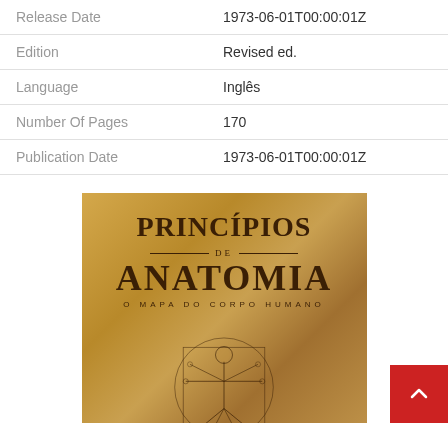| Field | Value |
| --- | --- |
| Release Date | 1973-06-01T00:00:01Z |
| Edition | Revised ed. |
| Language | Inglês |
| Number Of Pages | 170 |
| Publication Date | 1973-06-01T00:00:01Z |
[Figure (illustration): Book cover of 'Princípios de Anatomia – O Mapa do Corpo Humano' with aged parchment background and Vitruvian Man illustration]